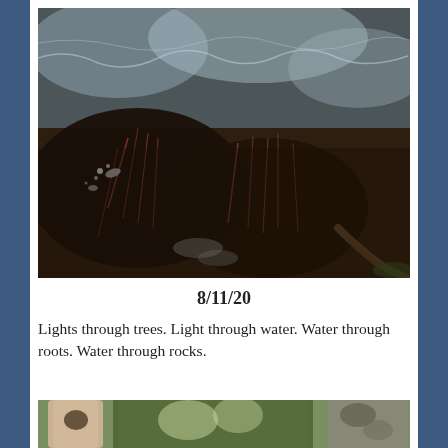[Figure (photo): Close-up photograph of water flowing over dark rocks with reddish aquatic plants/algae visible through the clear water, with light reflections on the surface. A tree root or branch is visible at the lower right.]
8/11/20
Lights through trees. Light through water. Water through roots. Water through rocks.
[Figure (photo): Photograph of tree trunks in a forest setting, partially visible at the bottom of the page.]